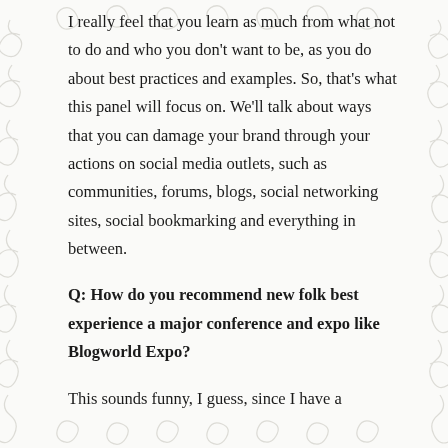I really feel that you learn as much from what not to do and who you don't want to be, as you do about best practices and examples. So, that's what this panel will focus on. We'll talk about ways that you can damage your brand through your actions on social media outlets, such as communities, forums, blogs, social networking sites, social bookmarking and everything in between.
Q: How do you recommend new folk best experience a major conference and expo like Blogworld Expo?
This sounds funny, I guess, since I have a